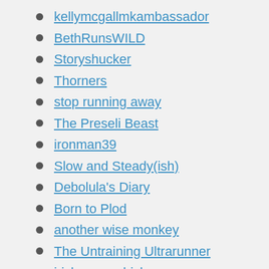kellymcgallmkambassador
BethRunsWILD
Storyshucker
Thorners
stop running away
The Preseli Beast
ironman39
Slow and Steady(ish)
Debolula's Diary
Born to Plod
another wise monkey
The Untraining Ultrarunner
irishrunnerchick
Running Faster: Quest for Speed
Kim Harrison
One Girl and a Rucksack...
Athletic Ambition